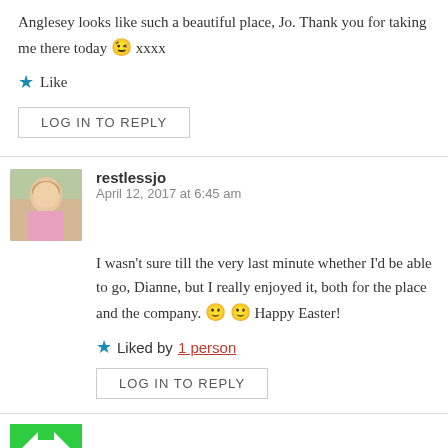Anglesey looks like such a beautiful place, Jo. Thank you for taking me there today 😉 xxxx
★ Like
LOG IN TO REPLY
restlessjo
April 12, 2017 at 6:45 am
I wasn't sure till the very last minute whether I'd be able to go, Dianne, but I really enjoyed it, both for the place and the company. 🙂 🙂 Happy Easter!
★ Liked by 1 person
LOG IN TO REPLY
Susan A Eames